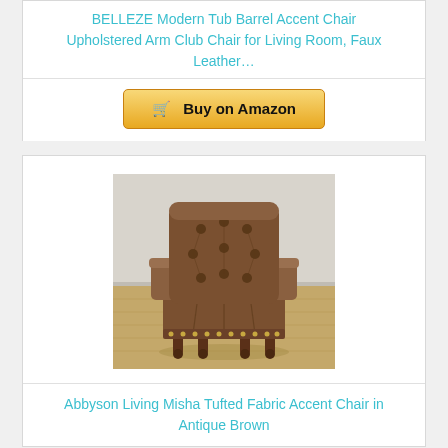BELLEZE Modern Tub Barrel Accent Chair Upholstered Arm Club Chair for Living Room, Faux Leather…
Buy on Amazon
[Figure (photo): Brown tufted leather accent chair with nailhead trim and wooden legs on a woven rug, light gray wall background]
Abbyson Living Misha Tufted Fabric Accent Chair in Antique Brown